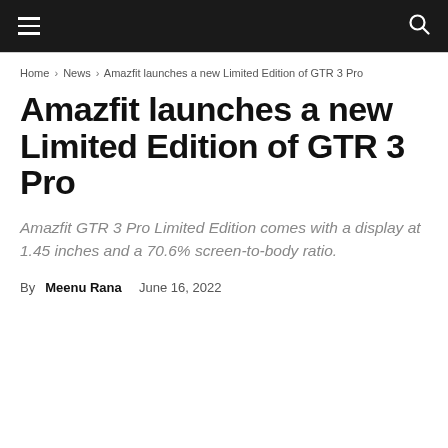[hamburger menu] [search icon]
Home › News › Amazfit launches a new Limited Edition of GTR 3 Pro
Amazfit launches a new Limited Edition of GTR 3 Pro
Amazfit GTR 3 Pro Limited Edition comes with a display at 1.45 inches and a 70.6% screen-to-body ratio.
By Meenu Rana   June 16, 2022